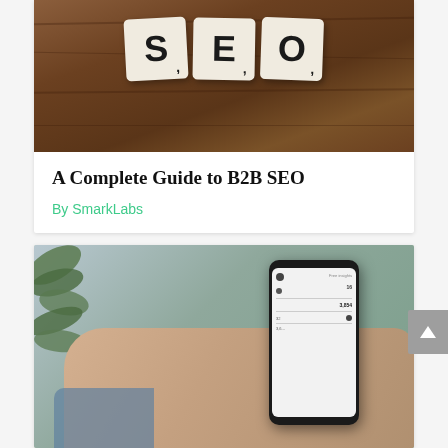[Figure (photo): Scrabble tiles spelling SEO on a wooden table background]
A Complete Guide to B2B SEO
By SmarkLabs
[Figure (photo): Person holding a smartphone showing analytics data, with a plant in the background]